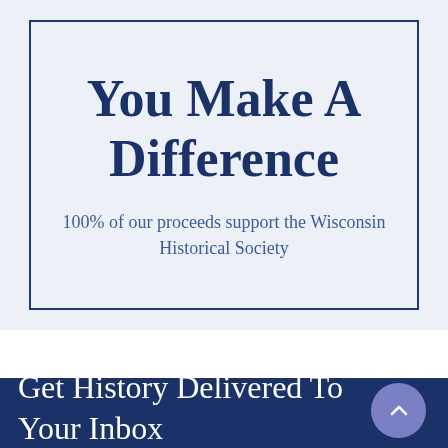You Make A Difference
100% of our proceeds support the Wisconsin Historical Society
Get History Delivered To Your Inbox